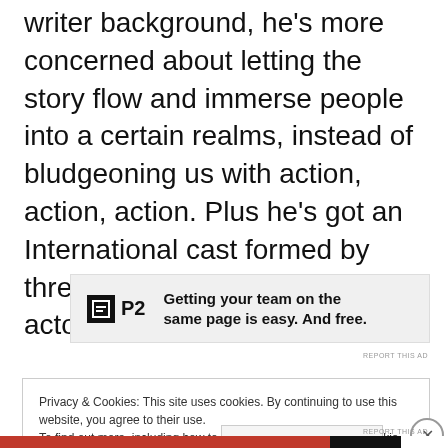writer background, he's more concerned about letting the story flow and immerse people into a certain realms, instead of bludgeoning us with action, action, action. Plus he's got an International cast formed by three accomplished young actors to tell his story.
[Figure (other): Advertisement banner for P2 with logo and text: Getting your team on the same page is easy. And free.]
Privacy & Cookies: This site uses cookies. By continuing to use this website, you agree to their use. To find out more, including how to control cookies, see here: Cookie Policy
Close and accept